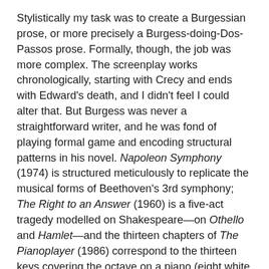Stylistically my task was to create a Burgessian prose, or more precisely a Burgess-doing-Dos-Passos prose. Formally, though, the job was more complex. The screenplay works chronologically, starting with Crecy and ends with Edward's death, and I didn't feel I could alter that. But Burgess was never a straightforward writer, and he was fond of playing formal game and encoding structural patterns in his novel. Napoleon Symphony (1974) is structured meticulously to replicate the musical forms of Beethoven's 3rd symphony; The Right to an Answer (1960) is a five-act tragedy modelled on Shakespeare—on Othello and Hamlet—and the thirteen chapters of The Pianoplayer (1986) correspond to the thirteen keys covering the octave on a piano (eight white and five black). Earthly Powers (1980), after Napoleon Symphony Burgess's most formally complex book, is built out of patterns of nine. As he explained in his autobiography, the narrator of the novel, a globally successful novelist modelled loosely on Somerset Maugham, looks back on his life. 'He celebrates his eighty-first birthday in the